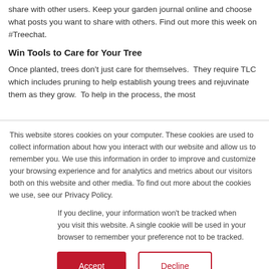share with other users. Keep your garden journal online and choose what posts you want to share with others. Find out more this week on #Treechat.
Win Tools to Care for Your Tree
Once planted, trees don't just care for themselves. They require TLC which includes pruning to help establish young trees and rejuvinate them as they grow. To help in the process, the most
This website stores cookies on your computer. These cookies are used to collect information about how you interact with our website and allow us to remember you. We use this information in order to improve and customize your browsing experience and for analytics and metrics about our visitors both on this website and other media. To find out more about the cookies we use, see our Privacy Policy.
If you decline, your information won't be tracked when you visit this website. A single cookie will be used in your browser to remember your preference not to be tracked.